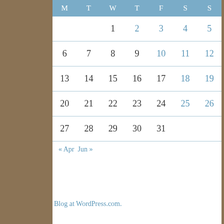| M | T | W | T | F | S | S |
| --- | --- | --- | --- | --- | --- | --- |
|  |  | 1 | 2 | 3 | 4 | 5 |
| 6 | 7 | 8 | 9 | 10 | 11 | 12 |
| 13 | 14 | 15 | 16 | 17 | 18 | 19 |
| 20 | 21 | 22 | 23 | 24 | 25 | 26 |
| 27 | 28 | 29 | 30 | 31 |  |  |
« Apr   Jun »
Blog at WordPress.com.